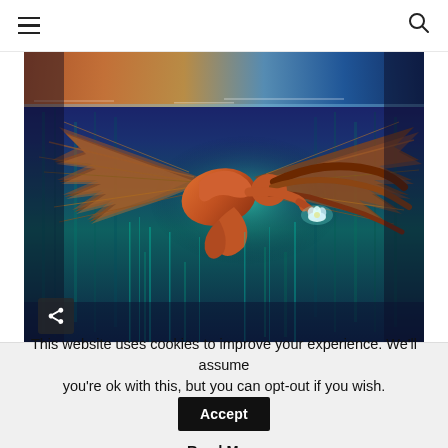≡  [hamburger menu]   [search icon]
[Figure (illustration): Colorful fantasy painting of a woman with wings floating/swimming underwater, hair spread wide, holding a white lotus flower, with vivid blue, teal, orange and purple tones]
Consciousness • Spirituality
This website uses cookies to improve your experience. We'll assume you're ok with this, but you can opt-out if you wish.  Accept
Read More